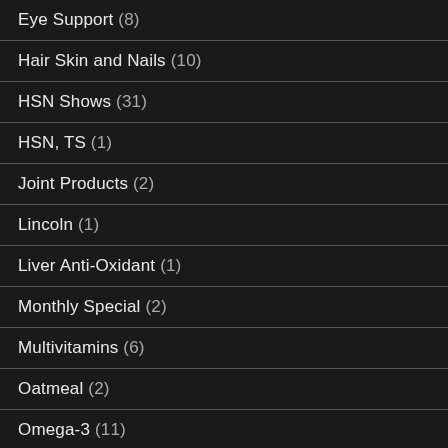Eye Support (8)
Hair Skin and Nails (10)
HSN Shows (31)
HSN, TS (1)
Joint Products (2)
Lincoln (1)
Liver Anti-Oxidant (1)
Monthly Special (2)
Multivitamins (6)
Oatmeal (2)
Omega-3 (11)
Online Show (1)